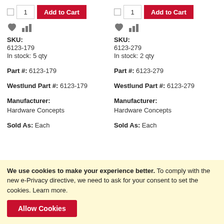SKU: 6123-179
In stock: 5 qty
SKU: 6123-279
In stock: 2 qty
Part #: 6123-179
Westlund Part #: 6123-179
Manufacturer: Hardware Concepts
Sold As: Each
Part #: 6123-279
Westlund Part #: 6123-279
Manufacturer: Hardware Concepts
Sold As: Each
We use cookies to make your experience better. To comply with the new e-Privacy directive, we need to ask for your consent to set the cookies. Learn more.